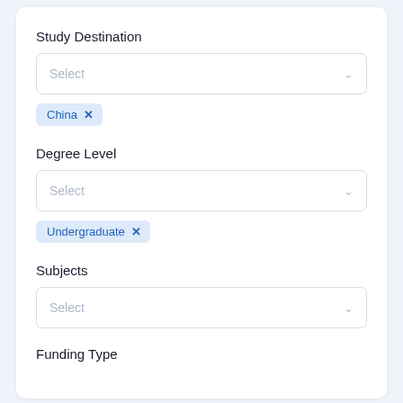Study Destination
Select
China ×
Degree Level
Select
Undergraduate ×
Subjects
Select
Funding Type